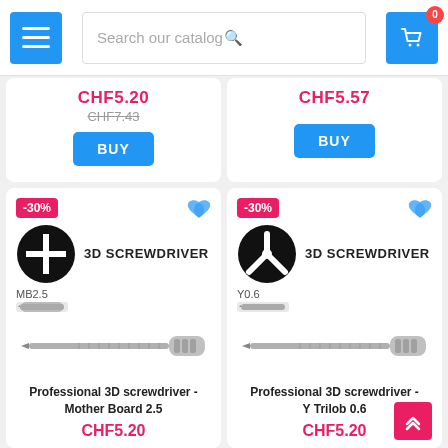Search our catalog
CHF5.20
CHF7.43
BUY
CHF5.57
BUY
[Figure (screenshot): Product card: Professional 3D screwdriver - Mother Board 2.5. Badge: -30%. Logo: black circle with plus/cross screwdriver icon. Label: MB2.5. Image of a precision screwdriver. Price: CHF5.20]
[Figure (screenshot): Product card: Professional 3D screwdriver - Y Trilob 0.6. Badge: -30%. Logo: black circle with Y/trilobe screwdriver icon. Label: Y0.6. Image of a precision screwdriver. Price: CHF5.20]